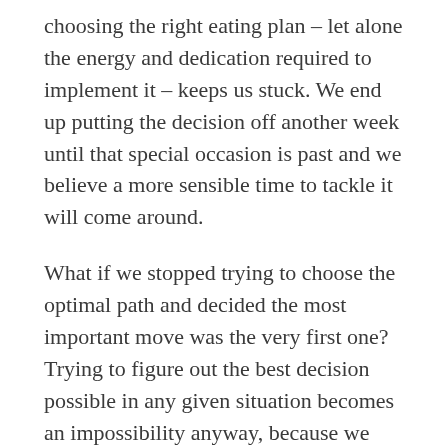choosing the right eating plan – let alone the energy and dedication required to implement it – keeps us stuck. We end up putting the decision off another week until that special occasion is past and we believe a more sensible time to tackle it will come around.
What if we stopped trying to choose the optimal path and decided the most important move was the very first one? Trying to figure out the best decision possible in any given situation becomes an impossibility anyway, because we don't know all the facts – or what our future holds.
We want to get back in church, so we read all the reviews. We look at the church's website and study it carefully. Will we find exactly what we're looking for?